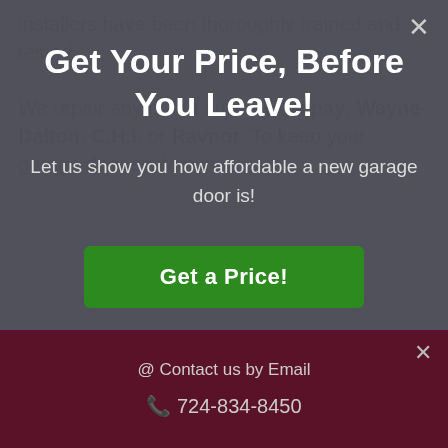installers have been thoroughly trained and tested.
We repair any brand such as Clopay, Wayne-Dalton, C.H.I. or Ravnor. To keep your garage door system in
Get Your Price, Before You Leave!
Let us show you how affordable a new garage door is!
Get a Price!
@ Contact us by Email
724-834-8450